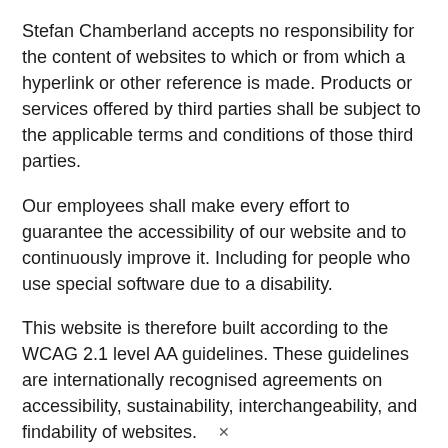Stefan Chamberland accepts no responsibility for the content of websites to which or from which a hyperlink or other reference is made. Products or services offered by third parties shall be subject to the applicable terms and conditions of those third parties.
Our employees shall make every effort to guarantee the accessibility of our website and to continuously improve it. Including for people who use special software due to a disability.
This website is therefore built according to the WCAG 2.1 level AA guidelines. These guidelines are internationally recognised agreements on accessibility, sustainability, interchangeability, and findability of websites.
All intellectual property rights to content on this website are